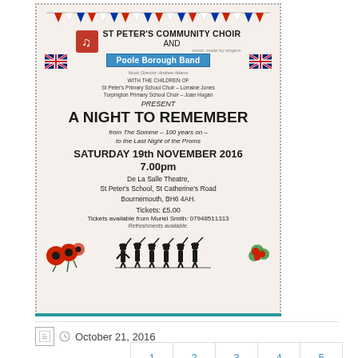[Figure (illustration): Event flyer for 'A Night To Remember' featuring St Peter's Community Choir and Poole Borough Band. Decorated with bunting, Union Jack flags, poppies, and a silhouette of WWI soldiers. Details: Saturday 19th November 2016, 7.00pm, De La Salle Theatre, St Peter's School, St Catherine's Road, Bournemouth, BH6 4AH. Tickets: £5.00, available from Muriel Smith: 07948511313.]
October 21, 2016
1 2 3 4 5